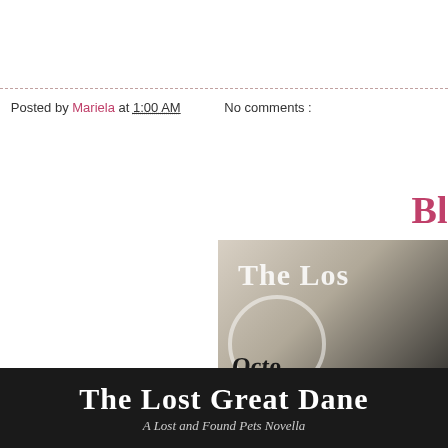Posted by Mariela at 1:00 AM    No comments :
Bl…
[Figure (illustration): Book tour promotional image for 'The Lost Great Dane' showing a partial book cover with text 'The Los', a cat silhouette in a circle, 'Octo...' in cursive, and 'RABT Book Tours' at the bottom]
[Figure (illustration): Black banner with white text reading 'The Lost Great Dane' and subtitle 'A Lost and Found Pets Novella']